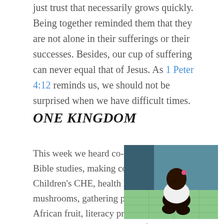just trust that necessarily grows quickly. Being together reminded them that they are not alone in their sufferings or their successes. Besides, our cup of suffering can never equal that of Jesus. As 1 Peter 4:12 reminds us, we should not be surprised when we have difficult times.
ONE KINGDOM
This week we heard co-laborers discuss Bible studies, making compost, Children's CHE, health lessons, growing mushrooms, gathering powder from African fruit, literacy programs, building churches, and praying for persecuted
[Figure (photo): Photo of a young African child sitting on a patterned floor, wearing a white top. Caption reads: Northern RCI CHE Trainers meeting]
Northern RCI CHE Trainers meeting